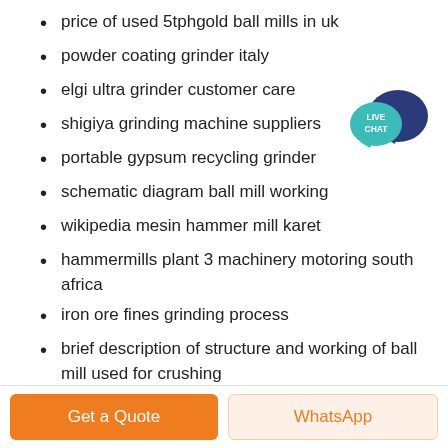price of used 5tphgold ball mills in uk
powder coating grinder italy
elgi ultra grinder customer care
shigiya grinding machine suppliers
portable gypsum recycling grinder
schematic diagram ball mill working
wikipedia mesin hammer mill karet
hammermills plant 3 machinery motoring south africa
iron ore fines grinding process
brief description of structure and working of ball mill used for crushing
ball mill used
[Figure (illustration): Live chat speech bubble icon in teal/dark blue colors with text LIVE CHAT]
Get a Quote
WhatsApp